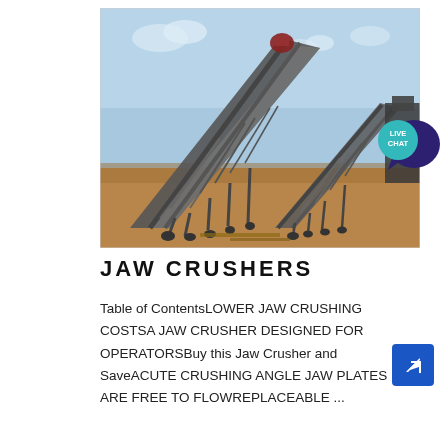[Figure (photo): Industrial conveyor belt structure on a mining site, large steel frame conveyor belt angled upward, dry soil ground, blue sky background.]
JAW CRUSHERS
Table of ContentsLOWER JAW CRUSHING COSTSA JAW CRUSHER DESIGNED FOR OPERATORSBuy this Jaw Crusher and SaveACUTE CRUSHING ANGLE JAW PLATES ARE FREE TO FLOWREPLACEABLE ...